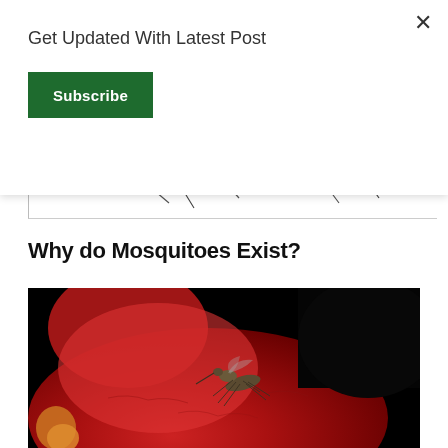Get Updated With Latest Post
Subscribe
[Figure (illustration): Partial view of a mosquito line drawing showing thin curved legs against a white background]
Why do Mosquitoes Exist?
[Figure (photo): Close-up photograph of a mosquito resting on a red surface (possibly a red fruit or flower), with a dark background. The mosquito is shown in detail with visible legs and proboscis.]